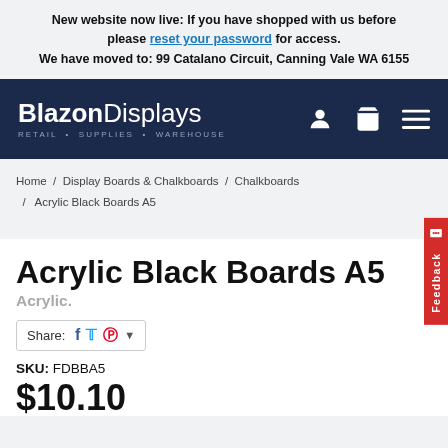New website now live: If you have shopped with us before please reset your password for access. We have moved to: 99 Catalano Circuit, Canning Vale WA 6155
[Figure (logo): Blazon Displays logo with tagline RETAIL • SUPPLIES • WAREHOUSE on dark navy background with user, cart, and menu icons]
Home / Display Boards & Chalkboards / Chalkboards / Acrylic Black Boards A5
Acrylic Black Boards A5
Acrylic.
Share: [Facebook] [Twitter] [Pinterest] ▾
SKU: FDBBA5